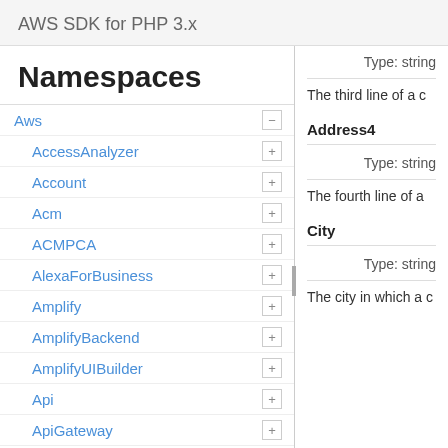AWS SDK for PHP 3.x
Namespaces
Aws
AccessAnalyzer
Account
Acm
ACMPCA
AlexaForBusiness
Amplify
AmplifyBackend
AmplifyUIBuilder
Api
ApiGateway
ApiGatewayManagementApi
Type: string
The third line of a c
Address4
Type: string
The fourth line of a
City
Type: string
The city in which a c